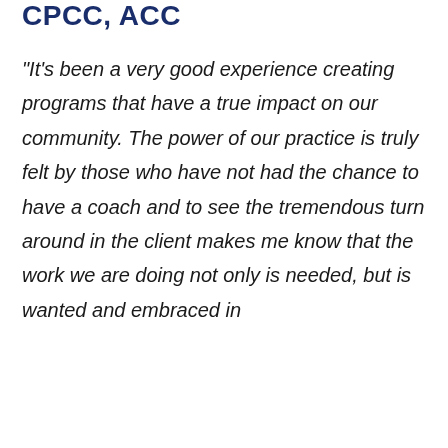CPCC, ACC
"It's been a very good experience creating programs that have a true impact on our community. The power of our practice is truly felt by those who have not had the chance to have a coach and to see the tremendous turn around in the client makes me know that the work we are doing not only is needed, but is wanted and embraced in